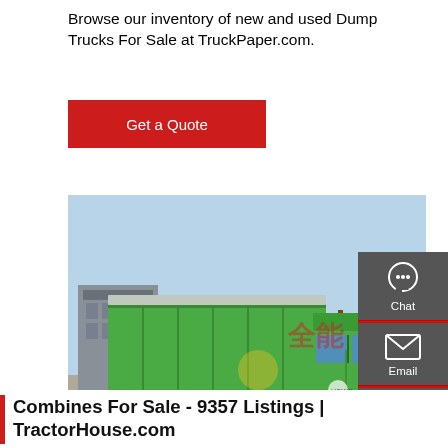Browse our inventory of new and used Dump Trucks For Sale at TruckPaper.com.
Get a Quote
[Figure (photo): Green HOWO dump truck parked in a yard with industrial buildings in background. Side panel shows a floating context menu with Chat, Email, Contact, and Top options.]
Combines For Sale - 9357 Listings | TractorHouse.com